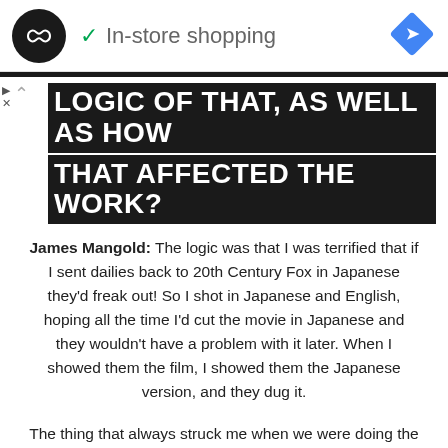[Figure (logo): Black circle logo with double infinity/loop arrow symbol, checkmark icon, and 'In-store shopping' text, plus a blue diamond navigation icon on the right — advertisement bar]
LOGIC OF THAT, AS WELL AS HOW THAT AFFECTED THE WORK?
James Mangold: The logic was that I was terrified that if I sent dailies back to 20th Century Fox in Japanese they'd freak out! So I shot in Japanese and English, hoping all the time I'd cut the movie in Japanese and they wouldn't have a problem with it later. When I showed them the film, I showed them the Japanese version, and they dug it.
The thing that always struck me when we were doing the scenes in English was that, it helped me because I could stage the scenes with the actors and direct them in English,